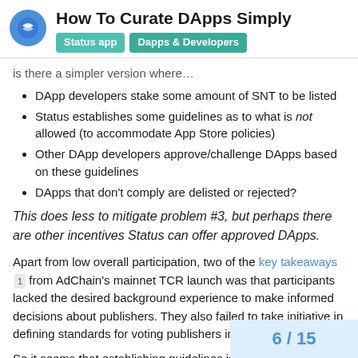How To Curate DApps Simply
is there a simpler version where…
DApp developers stake some amount of SNT to be listed
Status establishes some guidelines as to what is not allowed (to accommodate App Store policies)
Other DApp developers approve/challenge DApps based on these guidelines
DApps that don't comply are delisted or rejected?
This does less to mitigate problem #3, but perhaps there are other incentives Status can offer approved DApps.
Apart from low overall participation, two of the key takeaways from AdChain's mainnet TCR launch was that participants lacked the desired background experience to make informed decisions about publishers. They also failed to take initiative in defining standards for voting publishers in or out.
So it seems that establishing guidelines is the wheels.
6 / 15